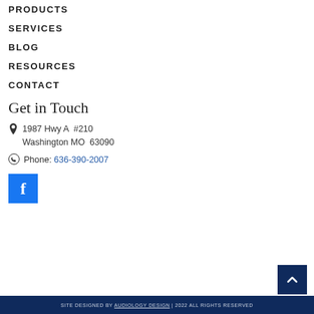PRODUCTS
SERVICES
BLOG
RESOURCES
CONTACT
Get in Touch
1987 Hwy A  #210
Washington MO  63090
Phone: 636-390-2007
[Figure (logo): Facebook icon square blue button with white F letter]
[Figure (other): Scroll to top button with upward chevron arrow on dark navy background]
SITE DESIGNED BY AUDIOLOGY DESIGN | 2022 ALL RIGHTS RESERVED